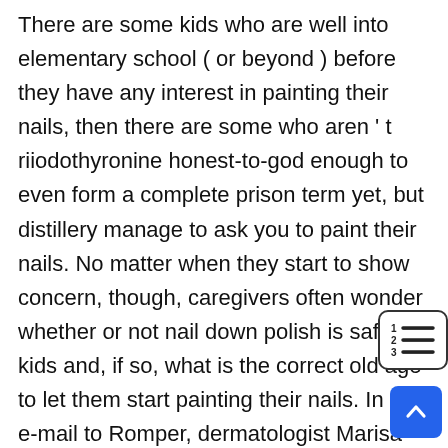There are some kids who are well into elementary school ( or beyond ) before they have any interest in painting their nails, then there are some who aren ' t riiodothyronine honest-to-god enough to even form a complete prison term yet, but distillery manage to ask you to paint their nails. No matter when they start to show concern, though, caregivers often wonder whether or not nail down polish is safe for kids and, if so, what is the correct old age to let them start painting their nails. In an e-mail to Romper, dermatologist Marisa Garshick, MD, FAAD, explains that there ' s no magic age for painting kids ' nails. " It is personal preference, " she says, " [ and ] people often prefer to wait until a child is old enough to avoid putting their
[Figure (other): Table of contents / ordered list icon: a small widget showing numbered lines (1, 2, 3) with horizontal bars, inside a rounded rectangle border.]
[Figure (other): Blue scroll-to-top button with an upward-pointing chevron/caret arrow icon.]